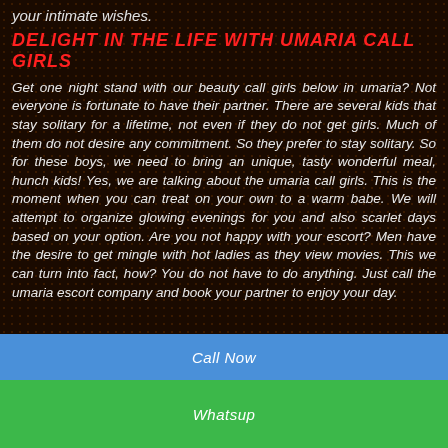your intimate wishes.
DELIGHT IN THE LIFE WITH UMARIA CALL GIRLS
Get one night stand with our beauty call girls below in umaria? Not everyone is fortunate to have their partner. There are several kids that stay solitary for a lifetime, not even if they do not get girls. Much of them do not desire any commitment. So they prefer to stay solitary. So for these boys, we need to bring an unique, tasty wonderful meal, hunch kids! Yes, we are talking about the umaria call girls. This is the moment when you can treat on your own to a warm babe. We will attempt to organize glowing evenings for you and also scarlet days based on your option. Are you not happy with your escort? Men have the desire to get mingle with hot ladies as they view movies. This we can turn into fact, how? You do not have to do anything. Just call the umaria escort company and book your partner to enjoy your day.
Call Now
Whatsup